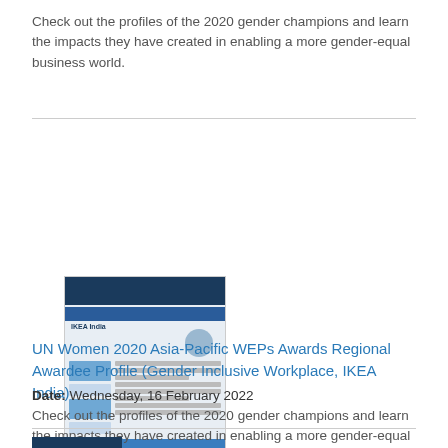Check out the profiles of the 2020 gender champions and learn the impacts they have created in enabling a more gender-equal business world.
[Figure (other): Thumbnail image of UN Women 2020 Asia-Pacific WEPs Awards Regional Awardee Profile document for Gender Inclusive Workplace, IKEA India]
UN Women 2020 Asia-Pacific WEPs Awards Regional Awardee Profile (Gender Inclusive Workplace, IKEA India)
Date: Wednesday, 16 February 2022
Check out the profiles of the 2020 gender champions and learn the impacts they have created in enabling a more gender-equal business world.